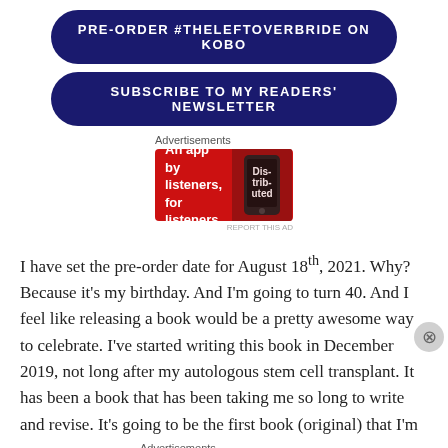PRE-ORDER #THELEFTOVERBRIDE ON KOBO
SUBSCRIBE TO MY READERS' NEWSLETTER
Advertisements
[Figure (other): Pocket Casts advertisement banner: red background with text 'An app by listeners, for listeners.' and Pocket Casts logo, with a phone image showing 'Distributed' text]
REPORT THIS AD
I have set the pre-order date for August 18th, 2021. Why? Because it's my birthday. And I'm going to turn 40. And I feel like releasing a book would be a pretty awesome way to celebrate. I've started writing this book in December 2019, not long after my autologous stem cell transplant. It has been a book that has been taking me so long to write and revise. It's going to be the first book (original) that I'm
Advertisements
[Figure (other): WordPress advertisement: beige background with text 'Professionally designed sites in less than a week' and WordPress logo]
REPORT THIS AD